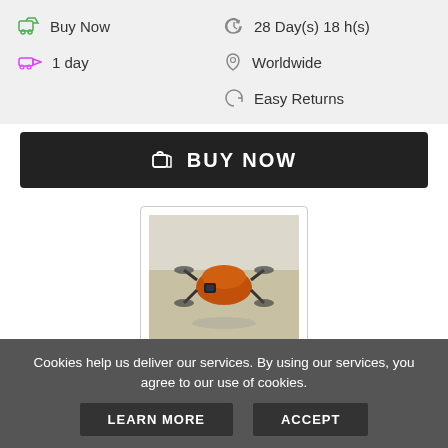Buy Now | 28 Day(s) 18 h(s) | 1 day | New | Worldwide | Easy Returns
BUY NOW
[Figure (photo): Photo of Autel Robotics EVO drone on a wooden surface]
Autel Robotics - EVO [600000245] - R...
$499.00
Cookies help us deliver our services. By using our services, you agree to our use of cookies.
LEARN MORE
ACCEPT